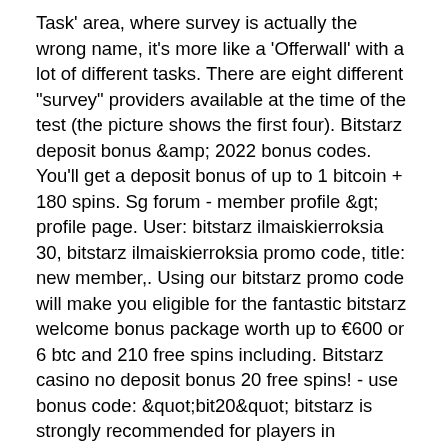Task' area, where survey is actually the wrong name, it's more like a 'Offerwall' with a lot of different tasks. There are eight different "survey" providers available at the time of the test (the picture shows the first four). Bitstarz deposit bonus &amp; 2022 bonus codes. You'll get a deposit bonus of up to 1 bitcoin + 180 spins. Sg forum - member profile &gt; profile page. User: bitstarz ilmaiskierroksia 30, bitstarz ilmaiskierroksia promo code, title: new member,. Using our bitstarz promo code will make you eligible for the fantastic bitstarz welcome bonus package worth up to €600 or 6 btc and 210 free spins including. Bitstarz casino no deposit bonus 20 free spins! - use bonus code: &quot;bit20&quot; bitstarz is strongly recommended for players in australia/canada. Bitstarz casino no deposit bonus codes ✓ validated on 15 march, 2022 ✓ exclusive 30 no deposit free spins and €500 match bonus + 180 extra. After using